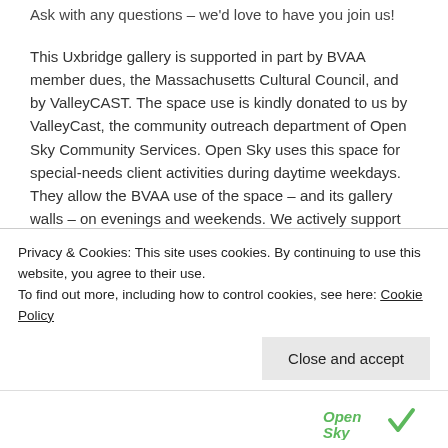Ask with any questions – we'd love to have you join us!
This Uxbridge gallery is supported in part by BVAA member dues, the Massachusetts Cultural Council, and by ValleyCAST. The space use is kindly donated to us by ValleyCast, the community outreach department of Open Sky Community Services. Open Sky uses this space for special-needs client activities during daytime weekdays. They allow the BVAA use of the space – and its gallery walls – on evenings and weekends. We actively support their inclusive mission. All are welcome to all of our events and activities!
[Figure (logo): Massachusetts Cultural Council logo (MCC with stylized letters) and ValleyCAST logo (colorful arrow/target graphic)]
Privacy & Cookies: This site uses cookies. By continuing to use this website, you agree to their use.
To find out more, including how to control cookies, see here: Cookie Policy
[Figure (logo): Open Sky logo at the bottom]